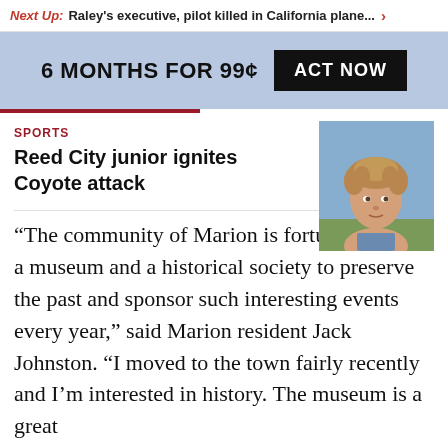Next Up: Raley's executive, pilot killed in California plane... >
6 MONTHS FOR 99¢  ACT NOW
SPORTS
Reed City junior ignites Coyote attack
[Figure (photo): Headshot of a young male teenager with light brown hair, outdoors background]
“The community of Marion is fortunate to have a museum and a historical society to preserve the past and sponsor such interesting events every year,” said Marion resident Jack Johnston. “I moved to the town fairly recently and I’m interested in history. The museum is a great